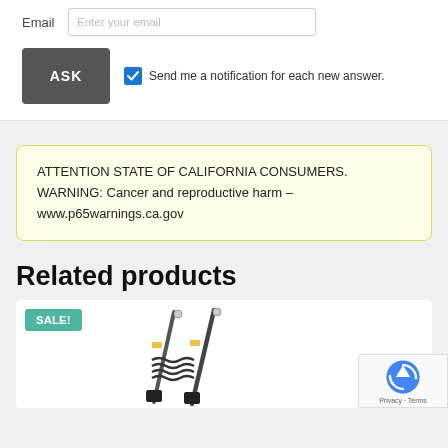Email   Enter your email
ASK   Send me a notification for each new answer.
ATTENTION STATE OF CALIFORNIA CONSUMERS. WARNING: Cancer and reproductive harm – www.p65warnings.ca.gov
Related products
[Figure (photo): Product image with SALE! badge showing shock absorbers/struts on white background]